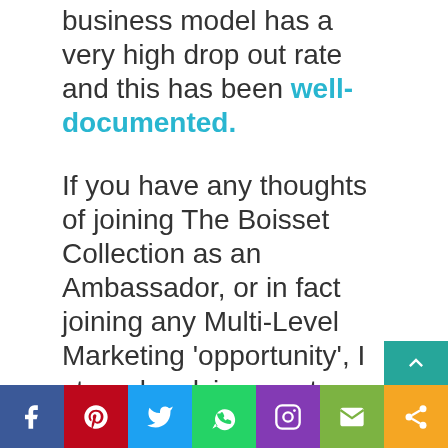…this is a fact that the MLM business model has a very high drop out rate and this has been well-documented.
If you have any thoughts of joining The Boisset Collection as an Ambassador, or in fact joining any Multi-Level Marketing 'opportunity', I strongly advise you to read my checklist and see if you feel you are the right kind of person for this type of business model.
[Figure (infographic): Social media share bar with icons: Facebook (blue), Pinterest (red), Twitter (light blue), WhatsApp (green), Instagram (purple), Email (green), Share (orange). Teal scroll-up button in bottom right.]